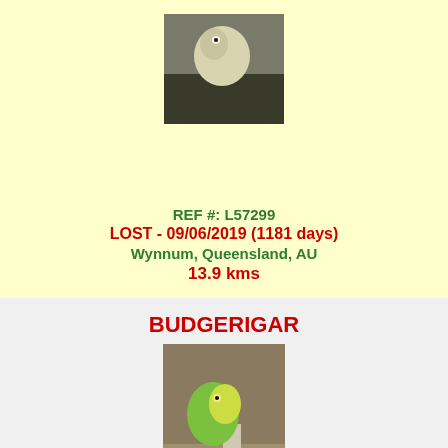[Figure (photo): Photo of a light-colored budgerigar/parakeet bird perched on a dark surface]
REF #: L57299
LOST - 09/06/2019 (1181 days)
Wynnum, Queensland, AU
13.9 kms
BUDGERIGAR
[Figure (photo): Photo of a green and yellow budgerigar perched on a branch near a cage]
REF #: L56194
LOST - 19/04/2019 (1232 days)
New Farm, Queensland, AU
4.0 kms